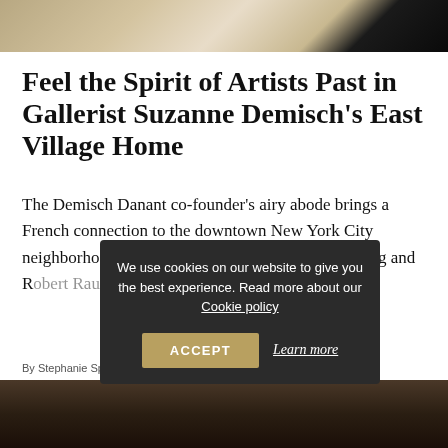[Figure (photo): Top portion of an interior photo showing architectural detail with cream/gold tones and dark edges]
Feel the Spirit of Artists Past in Gallerist Suzanne Demisch’s East Village Home
The Demisch Danant co-founder’s airy abode brings a French connection to the downtown New York City neighborhood where legends like Willem de Kooning and Robert Rauschenberg once mingled.
By Stephanie Sporn • May 5 • LIVING WITH ART
We use cookies on our website to give you the best experience. Read more about our Cookie policy
[Figure (photo): Bottom portion of an interior photo showing dark warm-toned room with bookshelves]